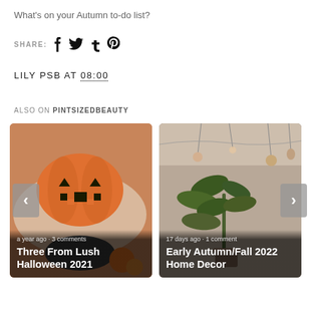What's on your Autumn to-do list?
SHARE: [social icons: Facebook, Twitter, Tumblr, Pinterest]
LILY PSB AT 08:00
ALSO ON PINTSIZEDBEAUTY
[Figure (photo): Card 1: Halloween Lush product photo (orange pumpkin shaped bath bomb), caption 'a year ago · 3 comments', title 'Three From Lush Halloween 2021']
[Figure (photo): Card 2: Early autumn home decor photo (plant with hanging lights), caption '17 days ago · 1 comment', title 'Early Autumn/Fall 2022 Home Decor']